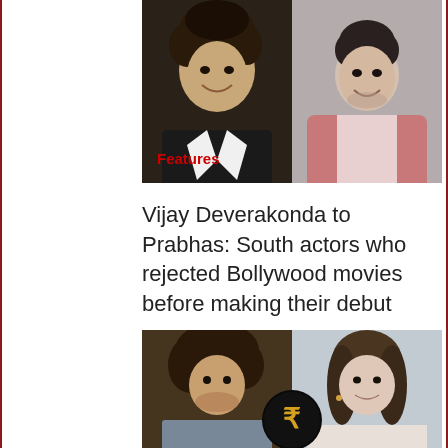[Figure (photo): Two photos side by side: left shows Vijay Deverakonda smiling with curly hair in a black jacket, right shows Prabhas smiling in a pink blazer]
Features
Vijay Deverakonda to Prabhas: South actors who rejected Bollywood movies before making their debut
[Figure (photo): Side-by-side image: left shows actor with curly hair (Vijay Deverakonda) in a sleeveless shirt, right shows a woman with long hair smiling. A rupee symbol circle logo overlaid in the center.]